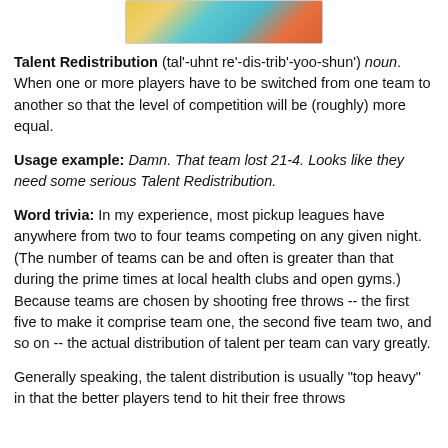[Figure (photo): Partial photo of people playing sports, cropped at top of page]
Talent Redistribution (tal'-uhnt re'-dis-trib'-yoo-shun') noun. When one or more players have to be switched from one team to another so that the level of competition will be (roughly) more equal.
Usage example: Damn. That team lost 21-4. Looks like they need some serious Talent Redistribution.
Word trivia: In my experience, most pickup leagues have anywhere from two to four teams competing on any given night. (The number of teams can be and often is greater than that during the prime times at local health clubs and open gyms.) Because teams are chosen by shooting free throws -- the first five to make it comprise team one, the second five team two, and so on -- the actual distribution of talent per team can vary greatly.
Generally speaking, the talent distribution is usually "top heavy" in that the better players tend to hit their free throws